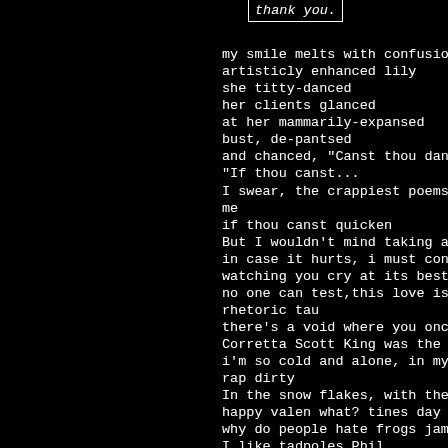thank you.
my smile melts with confusion
artisticly enhanced lily
she titty-danced
her clients glanced
at her mammarily-expansed
bust, de-pantsed
and chanced, "Canst thou dance as Constance danced?"
"If thou canst...
I swear, the crappiest poems ever written are by Meghan
me
if thou canst quicken
But I wouldn't mind taking a shirt off Meghans chest 3 c==
in case it hurts, i must confess t-bone
watching you cry at its best johnny phux
no one can test,this love is feeling fire kid
rhetoric tau
there's a void where you once were, and it's growing katy
Corretta Scott King was the queen of a King
i'm so cold and alone, in my soul it's snowing nikki
rap dirty
In the snow flakes, with the wind thats flowing Jones
happy valen what? tines day
why do people hate frogs james
I like tadpoles Phil
Cause frogs are nasty!
today i woke up tired john doe
her head aint shook brooke
the sun was still asleep Syd